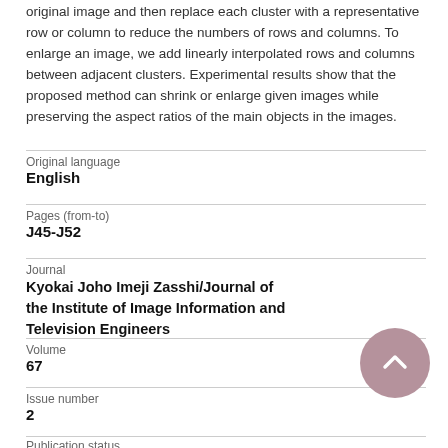original image and then replace each cluster with a representative row or column to reduce the numbers of rows and columns. To enlarge an image, we add linearly interpolated rows and columns between adjacent clusters. Experimental results show that the proposed method can shrink or enlarge given images while preserving the aspect ratios of the main objects in the images.
| Original language | English |
| Pages (from-to) | J45-J52 |
| Journal | Kyokai Joho Imeji Zasshi/Journal of the Institute of Image Information and Television Engineers |
| Volume | 67 |
| Issue number | 2 |
| Publication status |  |